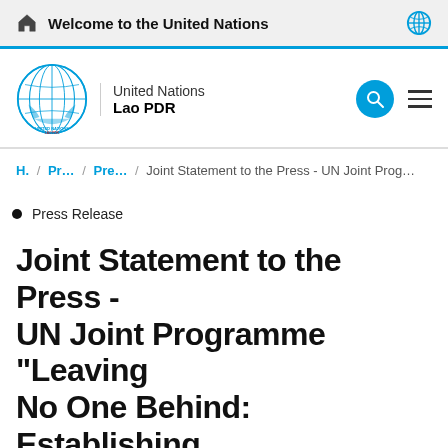Welcome to the United Nations
United Nations
Lao PDR
H. / Pr... / Pre... / Joint Statement to the Press - UN Joint Prog...
Press Release
Joint Statement to the Press - UN Joint Programme “Leaving No One Behind: Establishing